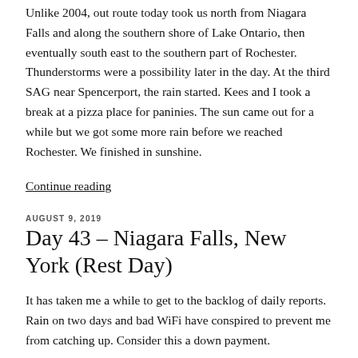Unlike 2004, out route today took us north from Niagara Falls and along the southern shore of Lake Ontario, then eventually south east to the southern part of Rochester. Thunderstorms were a possibility later in the day. At the third SAG near Spencerport, the rain started. Kees and I took a break at a pizza place for paninies. The sun came out for a while but we got some more rain before we reached Rochester. We finished in sunshine.
Continue reading
AUGUST 9, 2019
Day 43 – Niagara Falls, New York (Rest Day)
It has taken me a while to get to the backlog of daily reports. Rain on two days and bad WiFi have conspired to prevent me from catching up. Consider this a down payment.